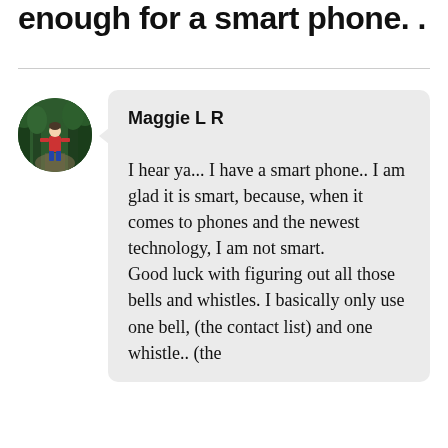enough for a smart phone. .
[Figure (photo): Circular avatar photo of a person on a forest path, wearing a red jacket, surrounded by green trees.]
Maggie L R
I hear ya... I have a smart phone.. I am glad it is smart, because, when it comes to phones and the newest technology, I am not smart.
Good luck with figuring out all those bells and whistles. I basically only use one bell, (the contact list) and one whistle.. (the